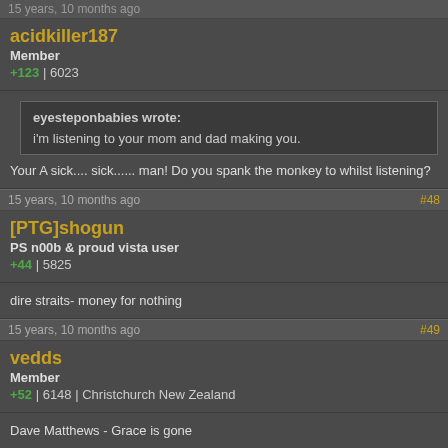15 years, 10 months ago
acidkiller187
Member
+123 | 6023
eyesteponbabies wrote:
i'm listening to your mom and dad making you.
Your A sick.... sick...... man! Do you spank the monkey to whilst listening?
15 years, 10 months ago  #48
[PTG]shogun
PS n00b & proud vista user
+44 | 5825
dire straits- money for nothing
15 years, 10 months ago  #49
vedds
Member
+52 | 6148 | Christchurch New Zealand
Dave Matthews - Grace is gone